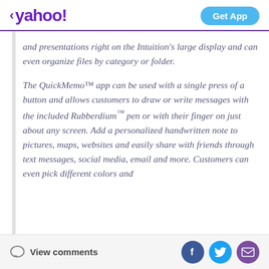< yahoo! | Get App
and presentations right on the Intuition's large display and can even organize files by category or folder.
The QuickMemo™ app can be used with a single press of a button and allows customers to draw or write messages with the included Rubberdium™ pen or with their finger on just about any screen. Add a personalized handwritten note to pictures, maps, websites and easily share with friends through text messages, social media, email and more. Customers can even pick different colors and
View comments | Facebook | Twitter | Email